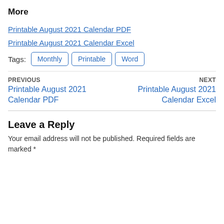More
Printable August 2021 Calendar PDF
Printable August 2021 Calendar Excel
Tags:  Monthly  Printable  Word
PREVIOUS
Printable August 2021 Calendar PDF
NEXT
Printable August 2021 Calendar Excel
Leave a Reply
Your email address will not be published. Required fields are marked *